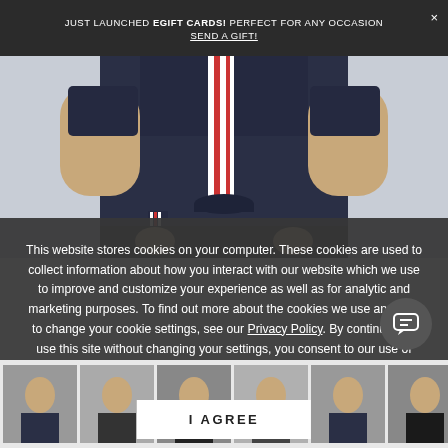JUST LAUNCHED EGIFT CARDS! PERFECT FOR ANY OCCASION
SEND A GIFT!
[Figure (photo): A woman wearing a navy blue top with striped detail down the front and a tie waist, hands in pockets, wearing dark shorts. Gray background.]
This website stores cookies on your computer. These cookies are used to collect information about how you interact with our website which we use to improve and customize your experience as well as for analytic and marketing purposes. To find out more about the cookies we use and how to change your cookie settings, see our Privacy Policy. By continuing to use this site without changing your settings, you consent to our use of cookies.
I AGREE
[Figure (screenshot): Bottom thumbnail strip showing small product images]